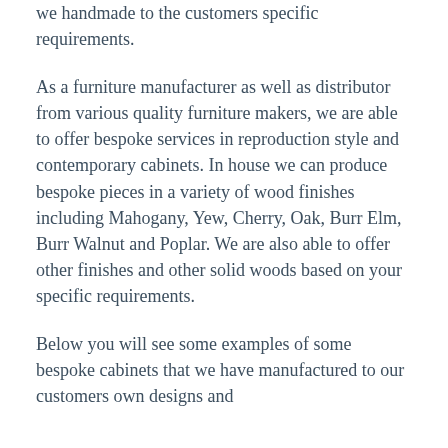we handmade to the customers specific requirements.
As a furniture manufacturer as well as distributor from various quality furniture makers, we are able to offer bespoke services in reproduction style and contemporary cabinets. In house we can produce bespoke pieces in a variety of wood finishes including Mahogany, Yew, Cherry, Oak, Burr Elm, Burr Walnut and Poplar. We are also able to offer other finishes and other solid woods based on your specific requirements.
Below you will see some examples of some bespoke cabinets that we have manufactured to our customers own designs and